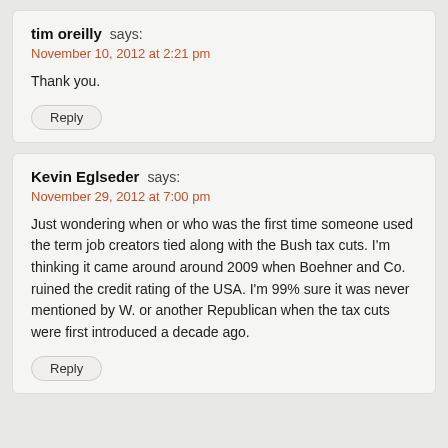tim oreilly says: November 10, 2012 at 2:21 pm
Thank you.
Reply
Kevin Eglseder says: November 29, 2012 at 7:00 pm
Just wondering when or who was the first time someone used the term job creators tied along with the Bush tax cuts. I'm thinking it came around around 2009 when Boehner and Co. ruined the credit rating of the USA. I'm 99% sure it was never mentioned by W. or another Republican when the tax cuts were first introduced a decade ago.
Reply